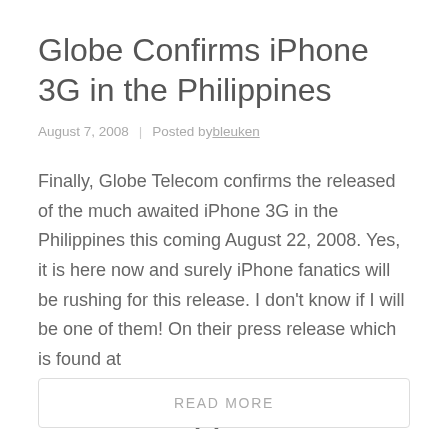Globe Confirms iPhone 3G in the Philippines
August 7, 2008  |  Posted by bleuken
Finally, Globe Telecom confirms the released of the much awaited iPhone 3G in the Philippines this coming August 22, 2008. Yes, it is here now and surely iPhone fanatics will be rushing for this release. I don't know if I will be one of them! On their press release which is found at http://www1.globe.com.ph/feature.aspx?artid=113, Gerardo [...]
READ MORE